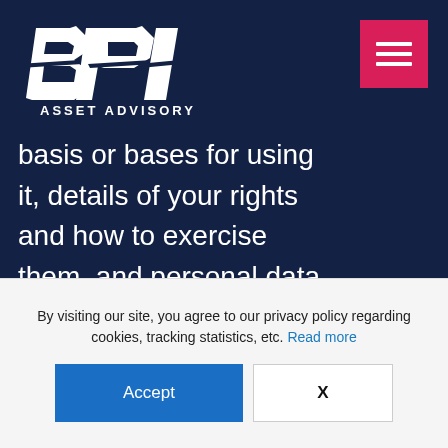[Figure (logo): BPI Asset Advisory logo — stylized italic 'BPI' letters in white on dark navy background with 'ASSET ADVISORY' text below]
basis or bases for using it, details of your rights and how to exercise them, and personal data sharing (where applicable), please refer to the Auctioneer's Privacy Notice
By visiting our site, you agree to our privacy policy regarding cookies, tracking statistics, etc. Read more
Accept
X